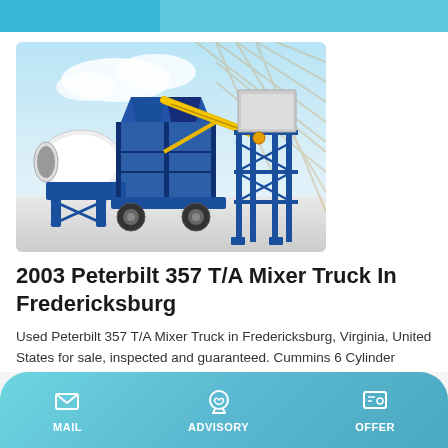[Figure (photo): Blue mobile concrete mixer truck / batching plant with yellow conveyor arm, white drum mixer on left, industrial steel frame tower on right, blue sky background]
2003 Peterbilt 357 T/A Mixer Truck In Fredericksburg
Used Peterbilt 357 T/A Mixer Truck in Fredericksburg, Virginia, United States for sale, inspected and guaranteed. Cummins 6 Cylinder Diesel Engine, US EPA Label, 6,800.2 Engine hrs, Air Conditioner, Cruise Control, Engine Brake, Eaton Fuller 8LL Manual Transmission, Double Differential Locks, 20,000 lb
MAIL  ADVISORY  OFFER